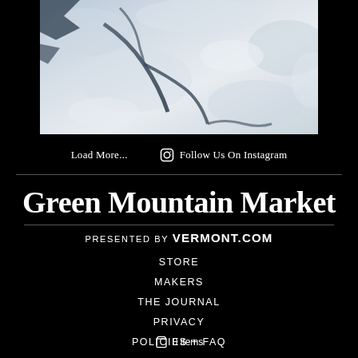[Figure (photo): Aerial view of a snowy mountain or icy terrain with blue-grey crevices and white snow patterns]
Load More...
Follow Us On Instagram
Green Mountain Market
presented by VERMONT.COM
STORE
MAKERS
THE JOURNAL
PRIVACY
POLICIES + FAQ
0 items